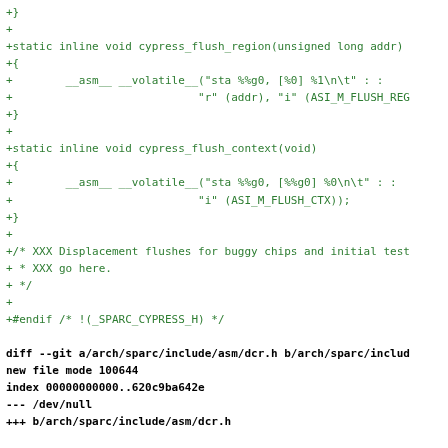+}
+
+static inline void cypress_flush_region(unsigned long addr)
+{
+        __asm__ __volatile__("sta %%g0, [%0] %1\n\t" : :
+                            "r" (addr), "i" (ASI_M_FLUSH_REG
+}
+
+static inline void cypress_flush_context(void)
+{
+        __asm__ __volatile__("sta %%g0, [%%g0] %0\n\t" : :
+                            "i" (ASI_M_FLUSH_CTX));
+}
+
+/* XXX Displacement flushes for buggy chips and initial test
+ * XXX go here.
+ */
+
+#endif /* !(_SPARC_CYPRESS_H) */
diff --git a/arch/sparc/include/asm/dcr.h b/arch/sparc/includ
new file mode 100644
index 00000000000..620c9ba642e
--- /dev/null
+++ b/arch/sparc/include/asm/dcr.h